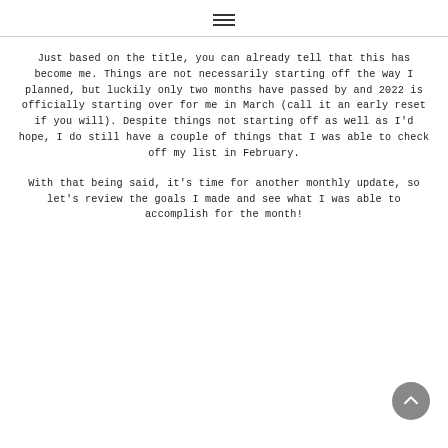≡
Just based on the title, you can already tell that this has become me. Things are not necessarily starting off the way I planned, but luckily only two months have passed by and 2022 is officially starting over for me in March (call it an early reset if you will). Despite things not starting off as well as I'd hope, I do still have a couple of things that I was able to check off my list in February.
With that being said, it's time for another monthly update, so let's review the goals I made and see what I was able to accomplish for the month!